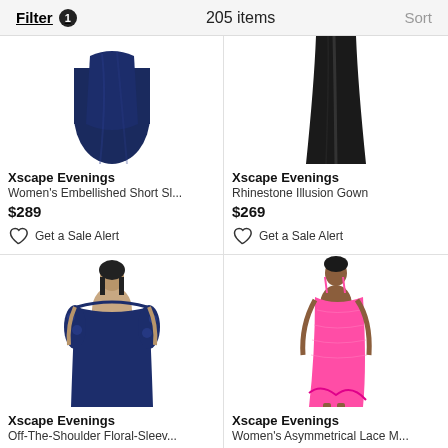Filter 1   205 items   Sort
[Figure (photo): Navy blue long gown, lower half visible]
Xscape Evenings
Women's Embellished Short Sl...
$289
Get a Sale Alert
[Figure (photo): Black long gown, lower half visible]
Xscape Evenings
Rhinestone Illusion Gown
$269
Get a Sale Alert
[Figure (photo): Woman in navy off-the-shoulder floral sleeve gown]
Xscape Evenings
Off-The-Shoulder Floral-Sleev...
[Figure (photo): Woman in pink asymmetrical lace midi dress]
Xscape Evenings
Women's Asymmetrical Lace M...